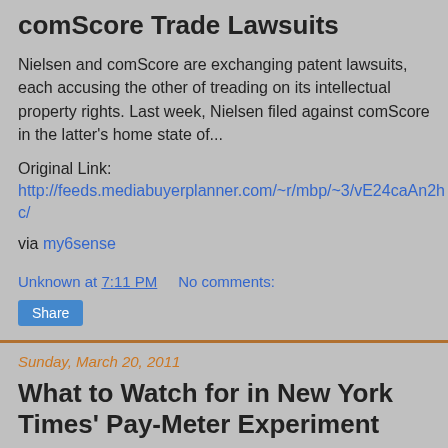comScore Trade Lawsuits
Nielsen and comScore are exchanging patent lawsuits, each accusing the other of treading on its intellectual property rights. Last week, Nielsen filed against comScore in the latter's home state of...
Original Link: http://feeds.mediabuyerplanner.com/~r/mbp/~3/vE24caAn2hc/
via my6sense
Unknown at 7:11 PM    No comments:
Share
Sunday, March 20, 2011
What to Watch for in New York Times' Pay-Meter Experiment